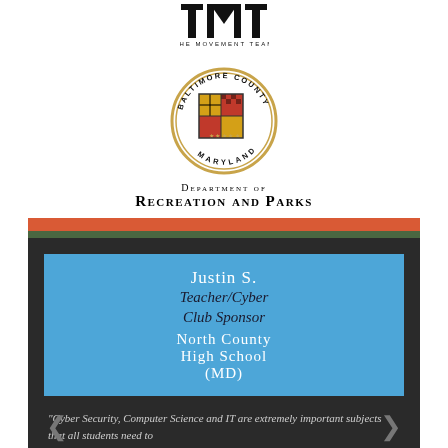[Figure (logo): The Movement Team logo — bold block letters TMT above text 'THE MOVEMENT TEAM']
[Figure (logo): Baltimore County Maryland Department of Recreation and Parks circular seal/coat of arms]
Department of
Recreation and Parks
Justin S.
Teacher/Cyber Club Sponsor
North County High School (MD)
"Cyber Security, Computer Science and IT are extremely important subjects that all students need to